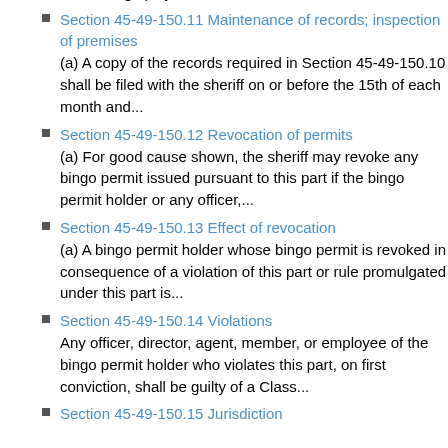Each bingo permit holder shall maintain the following records pertaining to each and every session of bingo: (1) The total number of bingo players at...
Section 45-49-150.11 Maintenance of records; inspection of premises
(a) A copy of the records required in Section 45-49-150.10 shall be filed with the sheriff on or before the 15th of each month and...
Section 45-49-150.12 Revocation of permits
(a) For good cause shown, the sheriff may revoke any bingo permit issued pursuant to this part if the bingo permit holder or any officer,...
Section 45-49-150.13 Effect of revocation
(a) A bingo permit holder whose bingo permit is revoked in consequence of a violation of this part or rule promulgated under this part is...
Section 45-49-150.14 Violations
Any officer, director, agent, member, or employee of the bingo permit holder who violates this part, on first conviction, shall be guilty of a Class...
Section 45-49-150.15 Jurisdiction